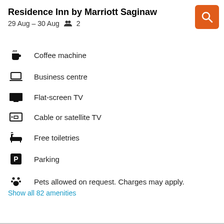Residence Inn by Marriott Saginaw
29 Aug – 30 Aug  👥 2
Coffee machine
Business centre
Flat-screen TV
Cable or satellite TV
Free toiletries
Parking
Pets allowed on request. Charges may apply.
Show all 82 amenities